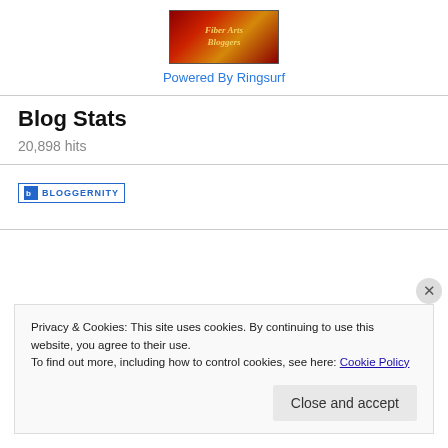[Figure (logo): Fiber Arts Bloggers banner logo with red/brown background and yellow italic text]
Powered By Ringsurf
Blog Stats
20,898 hits
[Figure (logo): Bloggernity badge with blue border and blue text]
Privacy & Cookies: This site uses cookies. By continuing to use this website, you agree to their use.
To find out more, including how to control cookies, see here: Cookie Policy
Close and accept